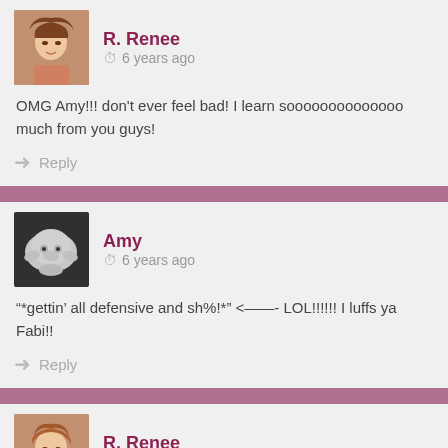R. Renee   6 years ago
OMG Amy!!! don't ever feel bad! I learn soooooooooooooo much from you guys!
Reply
Amy   6 years ago
*gettin' all defensive and sh%!*" <——- LOL!!!!!! I luffs ya Fabi!!
Reply
R. Renee   6 years ago
And i'm the first to admit my blurb SUCKS. It's on it's tenth